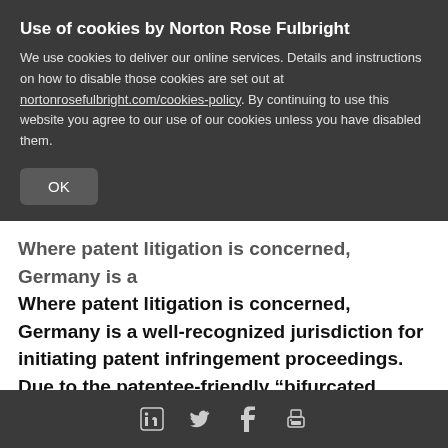Use of cookies by Norton Rose Fulbright
We use cookies to deliver our online services. Details and instructions on how to disable those cookies are set out at nortonrosefulbright.com/cookies-policy. By continuing to use this website you agree to our use of our cookies unless you have disabled them.
OK
Where patent litigation is concerned, Germany is a well-recognized jurisdiction for initiating patent infringement proceedings. Due to the patentee-friendly “bifurcated system”, specialized patent chambers with judges who possess good technical knowledge, predictable costs as well as speedy proceedings make Germany by far the most frequented forum for patent litigation in Europe.
LinkedIn Twitter Facebook Print icons